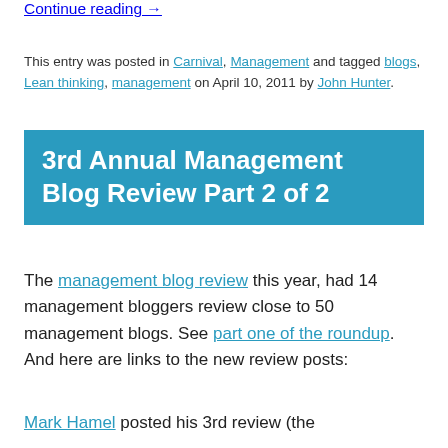Continue reading →
This entry was posted in Carnival, Management and tagged blogs, Lean thinking, management on April 10, 2011 by John Hunter.
3rd Annual Management Blog Review Part 2 of 2
The management blog review this year, had 14 management bloggers review close to 50 management blogs. See part one of the roundup. And here are links to the new review posts:
Mark Hamel posted his 3rd review (the